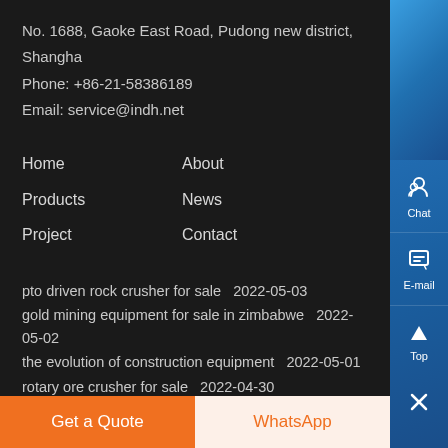No. 1688, Gaoke East Road, Pudong new district, Shangha
Phone: +86-21-58386189
Email: service@indh.net
Home
About
Products
News
Project
Contact
pto driven rock crusher for sale  2022-05-03
gold mining equipment for sale in zimbabwe  2022-05-02
the evolution of construction equipment  2022-05-01
rotary ore crusher for sale  2022-04-30